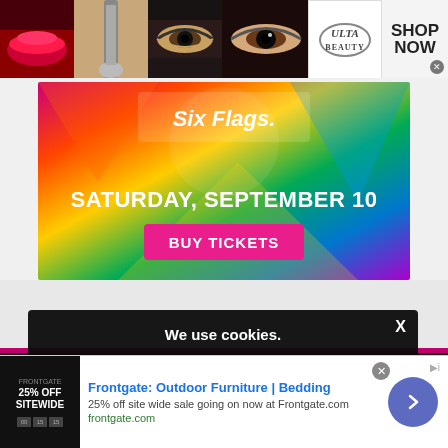[Figure (photo): ULTA Beauty banner advertisement with makeup photos (lips, brush, eye with smoky makeup), ULTA Beauty logo, and SHOP NOW button with close X]
[Figure (photo): Six Flags advertisement with colorful geometric background, Six Flags logo, text 'SATURDAY, SEPTEMBER 10' and pink 'BUY TICKETS' button]
JN: (Jerry Nunna): Give me Your hee story — Miran
MRI
We use cookies.
Yes, we use cookies to ensure we give you the best experience using this website.
By closing this box or clicking on the continue button, you agree to our terms of use and consent to the use of
[Figure (photo): Frontgate advertisement: '25% OFF SITEWIDE' promotional image, text 'Frontgate: Outdoor Furniture | Bedding', '25% off site wide sale going on now at Frontgate.com', 'frontgate.com', with navigation arrow button]